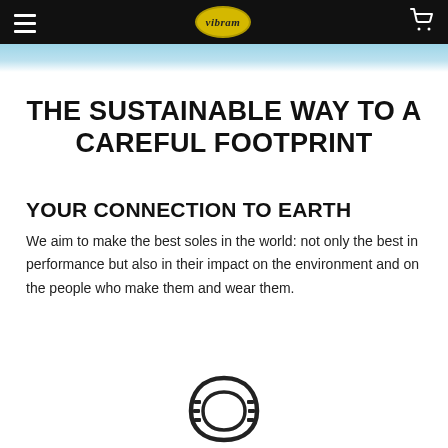vibram (logo)
THE SUSTAINABLE WAY TO A CAREFUL FOOTPRINT
YOUR CONNECTION TO EARTH
We aim to make the best soles in the world: not only the best in performance but also in their impact on the environment and on the people who make them and wear them.
[Figure (illustration): Outline illustration of a shoe sole / horseshoe-shaped sole icon, partially visible at bottom of page]